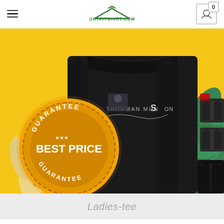OUTFITSHIRT.COM
[Figure (photo): Product page screenshot showing a ladies-tee with a tropical yellow background, a black shirt in the center featuring 'Thurman Munson' design, a 'Best Price Guarantee' gold badge seal on the left, tropical green leaves on the right, and shirt thumbnail images on the far right edge.]
Ladies-tee